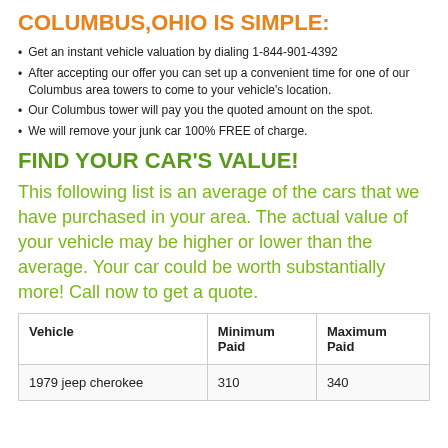COLUMBUS,OHIO IS SIMPLE:
Get an instant vehicle valuation by dialing 1-844-901-4392
After accepting our offer you can set up a convenient time for one of our Columbus area towers to come to your vehicle's location.
Our Columbus tower will pay you the quoted amount on the spot.
We will remove your junk car 100% FREE of charge.
FIND YOUR CAR'S VALUE!
This following list is an average of the cars that we have purchased in your area. The actual value of your vehicle may be higher or lower than the average. Your car could be worth substantially more! Call now to get a quote.
| Vehicle | Minimum Paid | Maximum Paid |
| --- | --- | --- |
| 1979 jeep cherokee | 310 | 340 |